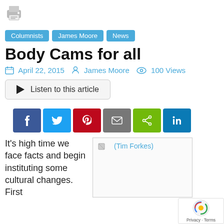[Figure (logo): Printer icon at top left]
Columnists   James Moore   News
Body Cams for all
April 22, 2015  James Moore  100 Views
[Figure (other): Listen to this article button]
[Figure (infographic): Social share buttons: Facebook, Twitter, Pinterest, Email, Share, LinkedIn]
It’s high time we face facts and begin instituting some cultural changes. First
[Figure (photo): (Tim Forkes) image placeholder]
[Figure (other): reCAPTCHA Privacy - Terms badge]